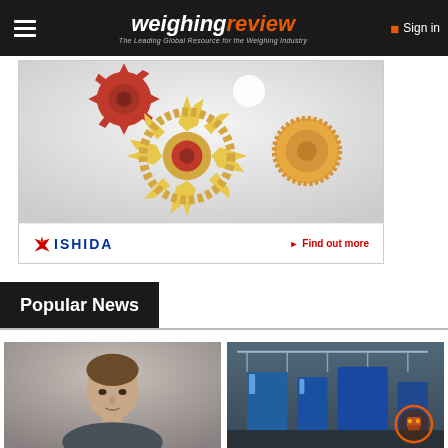weighingreview — The Leading Global Resource for the Weighing Industry | Sign in
[Figure (photo): Ishida advertisement banner showing colorful cookie/biscuit gear shapes on a light background, with Ishida logo and 'Find out more' link at the bottom]
Popular News
[Figure (photo): Thumbnail photo of a man with short brown hair against a light background]
[Figure (photo): Thumbnail photo of an industrial facility interior with blue machinery and an orange circle badge overlay in the bottom right corner]